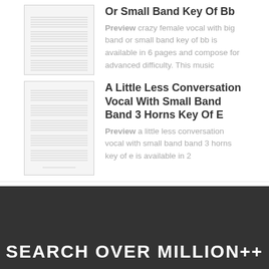Or Small Band Key Of Bb
Preview crazy female vocal with big band or small band key of bb is available in 6 pages and compose for advanced difficulty. This music
[Figure (illustration): Thumbnail image of sheet music for vocal with big band or small band key of Bb]
A Little Less Conversation Vocal With Small Band Band 3 Horns Key Of E
Preview a little less conversation vocal with small band band 3 horns key of e is available in 2
[Figure (illustration): Thumbnail image of sheet music for A Little Less Conversation Vocal With Small Band Band 3 Horns Key Of E]
SEARCH OVER MILLION++